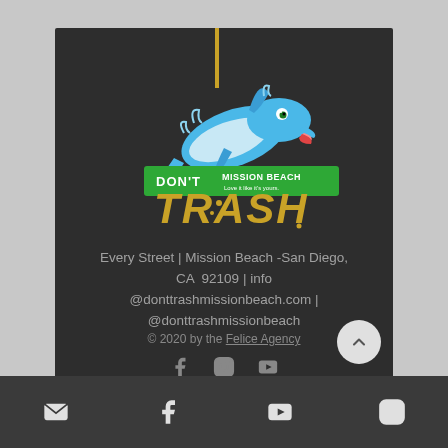[Figure (logo): Don't Trash Mission Beach logo with a blue dolphin jumping over a green banner reading 'DON'T TRASH MISSION BEACH - Love it like it's yours.' with golden graffiti-style text 'TRASH' below]
Every Street | Mission Beach -San Diego, CA  92109 | info @donttrashmissionbeach.com | @donttrashmissionbeach
© 2020 by the Felice Agency
[Figure (infographic): Social media icons: Facebook, Instagram, YouTube on dark card; Mail, Facebook, YouTube, Instagram icons in bottom bar]